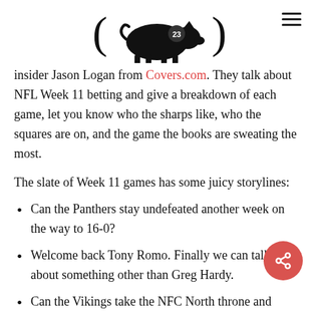[Figure (logo): Pig silhouette logo with number 23 and parentheses on either side]
insider Jason Logan from Covers.com. They talk about NFL Week 11 betting and give a breakdown of each game, let you know who the sharps like, who the squares are on, and the game the books are sweating the most.
The slate of Week 11 games has some juicy storylines:
Can the Panthers stay undefeated another week on the way to 16-0?
Welcome back Tony Romo. Finally we can talk about something other than Greg Hardy.
Can the Vikings take the NFC North throne and continue the Packers slide?